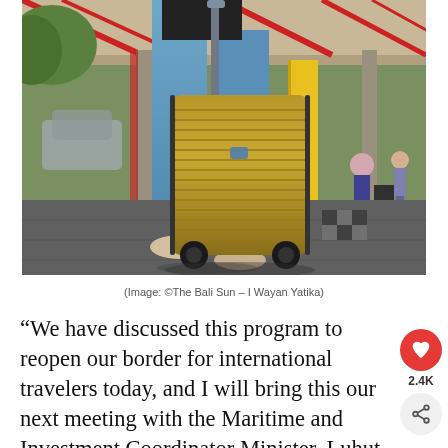[Figure (photo): A person in jeans and a black top pulling a gold/bronze ribbed hardshell carry-on suitcase across a tiled floor at what appears to be an airport or transit terminal. In the background are red and white structural columns, a yellow pillar, and other travelers with luggage.]
(Image: ©The Bali Sun – I Wayan Yatika)
“We have discussed this program to reopen our border for international travelers today, and I will bring this our next meeting with the Maritime and Investment Coordinator Minister, Luhut Binsar Pandjajtan on Sept